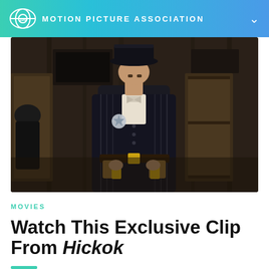MOTION PICTURE ASSOCIATION
[Figure (photo): A man dressed as a Western lawman in a dark pinstripe suit and wide-brim hat, wearing a sheriff's badge, standing in front of wooden saloon doors, hands on his holstered guns.]
MOVIES
Watch This Exclusive Clip From Hickok